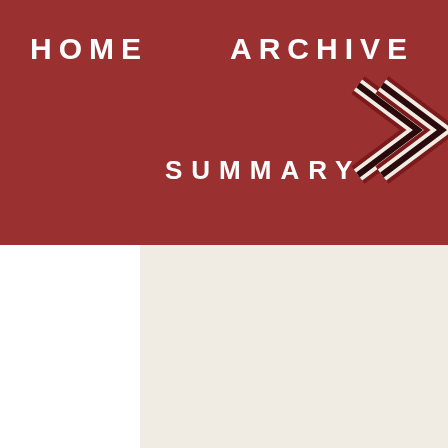HOME   ARCHIVE   SUMMARY
[Figure (illustration): Double chevron/arrow graphic in dark red with black outline, pointing right, positioned at top right corner of page]